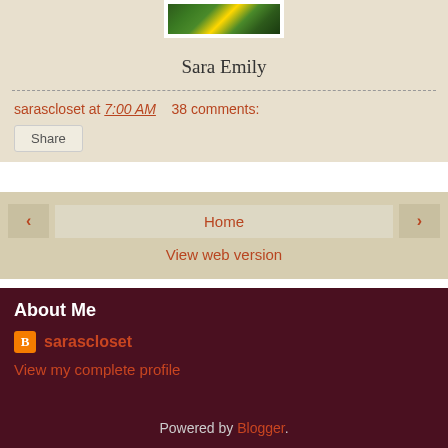[Figure (photo): Partial photo of a green metal mesh/grate object with yellow accents, shown in a white-framed container at top of page]
Sara Emily
sarascloset at 7:00 AM   38 comments:
Share
‹  Home  ›
View web version
About Me
sarascloset
View my complete profile
Powered by Blogger.